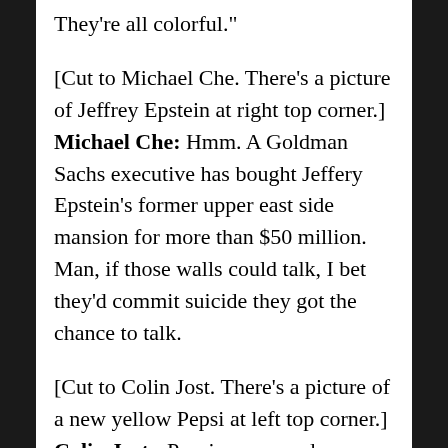They’re all colorful.”
[Cut to Michael Che. There’s a picture of Jeffrey Epstein at right top corner.] Michael Che: Hmm. A Goldman Sachs executive has bought Jeffery Epstein’s former upper east side mansion for more than $50 million. Man, if those walls could talk, I bet they’d commit suicide they got the chance to talk.
[Cut to Colin Jost. There’s a picture of a new yellow Pepsi at left top corner.] Colin Jost: Pepsi announced a new Peeps flavored soda for Easter. It’s perfect for Easter because it will make your digestive